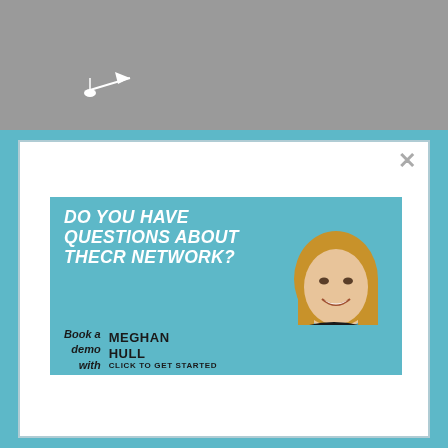[Figure (screenshot): Website screenshot showing a modal popup dialog with a teal background ad banner. The banner asks 'DO YOU HAVE QUESTIONS ABOUT THECR NETWORK?' with a photo of a woman (Meghan Hull) and a call-to-action to book a demo. There is a close button (X) in the top right of the modal. The background shows a gray website header with a small logo.]
DO YOU HAVE QUESTIONS ABOUT THECR NETWORK?
Book a demo with MEGHAN HULL CLICK TO GET STARTED